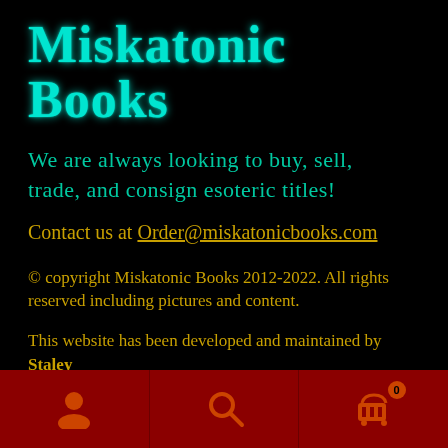Miskatonic Books
We are always looking to buy, sell, trade, and consign esoteric titles!
Contact us at Order@miskatonicbooks.com
© copyright Miskatonic Books 2012-2022. All rights reserved including pictures and content.
This website has been developed and maintained by Staley & Associates.
[Figure (other): Navigation bar with person/account icon, search icon, and shopping cart icon with badge showing 0]